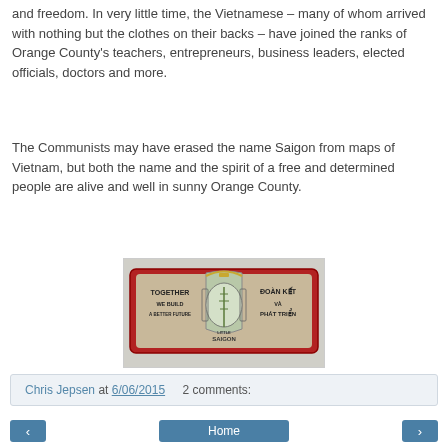and freedom. In very little time, the Vietnamese – many of whom arrived with nothing but the clothes on their backs – have joined the ranks of Orange County's teachers, entrepreneurs, business leaders, elected officials, doctors and more.
The Communists may have erased the name Saigon from maps of Vietnam, but both the name and the spirit of a free and determined people are alive and well in sunny Orange County.
[Figure (photo): A sign reading 'TOGETHER WE BUILD A BETTER FUTURE' on the left and 'DOAN KET VA PHAT TRIEN' on the right, with 'Little Saigon' in the center with a decorative emblem featuring a bamboo plant.]
Chris Jepsen at 6/06/2015   2 comments: